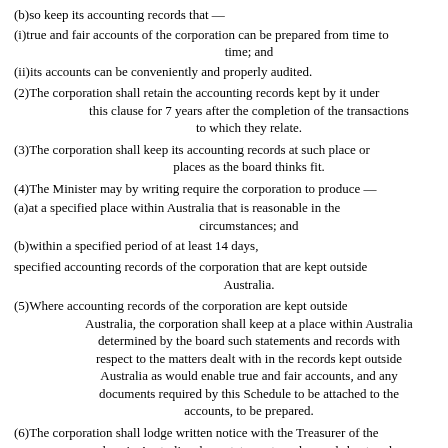(b)so keep its accounting records that —
(i)true and fair accounts of the corporation can be prepared from time to time; and
(ii)its accounts can be conveniently and properly audited.
(2)The corporation shall retain the accounting records kept by it under this clause for 7 years after the completion of the transactions to which they relate.
(3)The corporation shall keep its accounting records at such place or places as the board thinks fit.
(4)The Minister may by writing require the corporation to produce —
(a)at a specified place within Australia that is reasonable in the circumstances; and
(b)within a specified period of at least 14 days,
specified accounting records of the corporation that are kept outside Australia.
(5)Where accounting records of the corporation are kept outside Australia, the corporation shall keep at a place within Australia determined by the board such statements and records with respect to the matters dealt with in the records kept outside Australia as would enable true and fair accounts, and any documents required by this Schedule to be attached to the accounts, to be prepared.
(6)The corporation shall lodge written notice with the Treasurer of the place in Australia where statements and records kept under subclause (3) are kept, unless the statements and records are